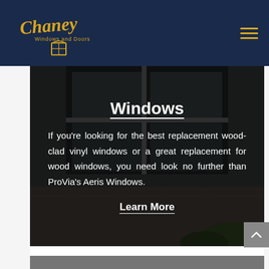Chaney Windows and Doors
Windows
If you're looking for the best replacement wood-clad vinyl windows or a great replacement for wood windows, you need look no further than ProVia's Aeris Windows.
Learn More